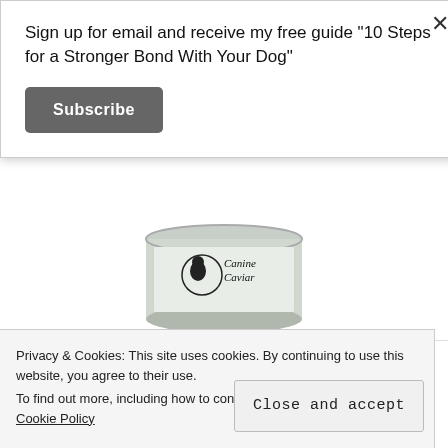Sign up for email and receive my free guide "10 Steps for a Stronger Bond With Your Dog"
Subscribe
[Figure (photo): A can of Canine Caviar dog food in the center of the page]
[Figure (photo): A box of dog food partially visible in upper right corner]
[Figure (photo): Duck-branded dog food product partially visible at bottom left]
Privacy & Cookies: This site uses cookies. By continuing to use this website, you agree to their use.
To find out more, including how to control cookies, see here: Cookie Policy
Close and accept